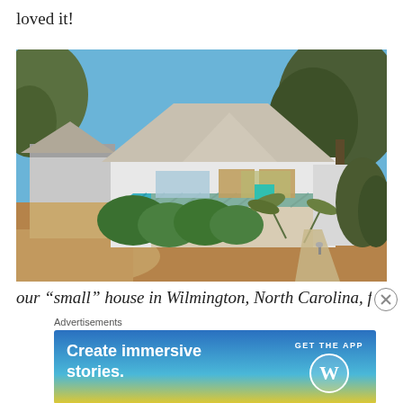loved it!
[Figure (photo): A small white cottage-style house in Wilmington, North Carolina. The house has a blue metal awning over the front porch, wood-framed windows, bushes and tropical plants in the front yard, a gravel driveway on the left, and large trees in the background under a clear blue sky.]
our “small” house in Wilmington, North Carolina, for
Advertisements
Create immersive stories.
GET THE APP